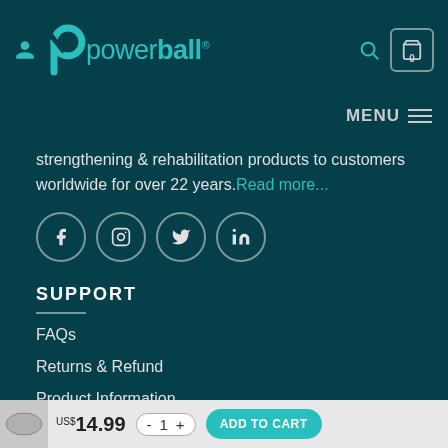powerball - user icon, search icon, cart (0), MENU
strengthening & rehabilitation products to customers worldwide for over 22 years. Read more...
[Figure (other): Social media icons: Facebook, Instagram, Twitter, LinkedIn]
SUPPORT
FAQs
Returns & Refund
Product Information
Exercise Guides
Instruction Manuals
Blog
US$14.99  - 1 +  ADD TO CART